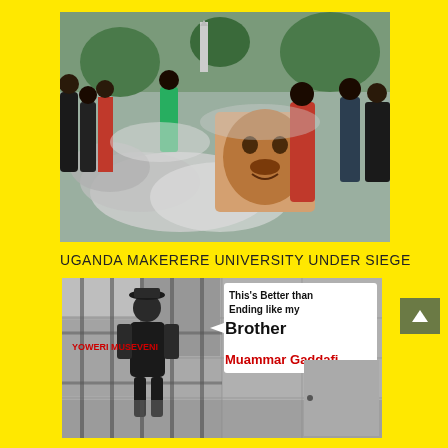[Figure (photo): Crowd of protesters burning a poster showing the face of Uganda's President Yoweri Museveni, with smoke rising around them at Makerere University.]
UGANDA MAKERERE UNIVERSITY UNDER SIEGE
[Figure (photo): Composite grayscale image of a person behind bars with red text reading 'YOWERI MUSEVENI' and a white speech bubble text box reading: 'This's Better than Ending like my Brother Muammar Gaddafi']